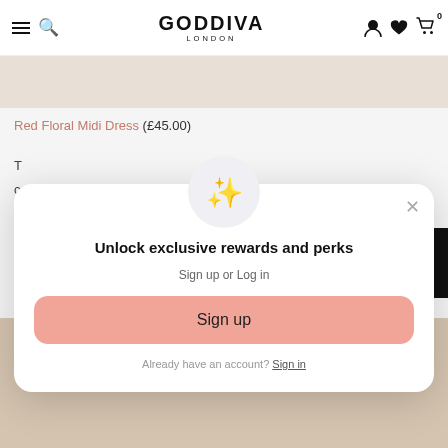GODDIVA LONDON
[Figure (screenshot): Beige/tan product image strip, partially visible]
Red Floral Midi Dress (£45.00)
T
c
f
[Figure (screenshot): Lower product image area with pink/beige tones]
[Figure (infographic): Modal popup: Unlock exclusive rewards and perks. Sign up or Log in. Sign up button. Already have an account? Sign in.]
Unlock exclusive rewards and perks
Sign up or Log in
Sign up
Already have an account? Sign in